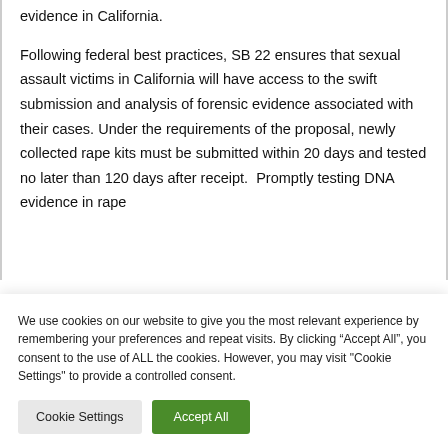evidence in California.
Following federal best practices, SB 22 ensures that sexual assault victims in California will have access to the swift submission and analysis of forensic evidence associated with their cases. Under the requirements of the proposal, newly collected rape kits must be submitted within 20 days and tested no later than 120 days after receipt. Promptly testing DNA evidence in rape
We use cookies on our website to give you the most relevant experience by remembering your preferences and repeat visits. By clicking “Accept All”, you consent to the use of ALL the cookies. However, you may visit "Cookie Settings" to provide a controlled consent.